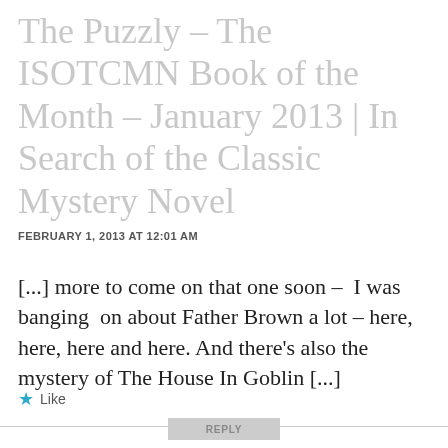The Puzzly – The ISOTCMN Book of the Month – January 2013 | In Search of the Classic Mystery Novel
FEBRUARY 1, 2013 AT 12:01 AM
[...] more to come on that one soon –  I was banging  on about Father Brown a lot – here, here, here and here. And there's also the mystery of The House In Goblin [...]
★ Like
REPLY